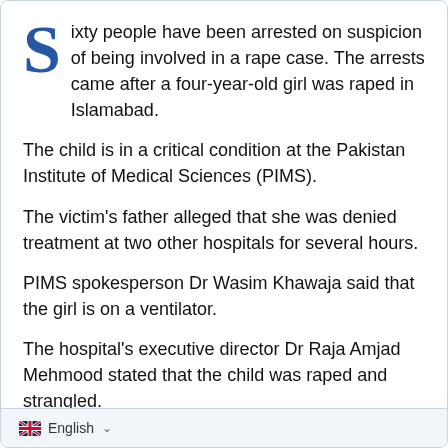Sixty people have been arrested on suspicion of being involved in a rape case. The arrests came after a four-year-old girl was raped in Islamabad.
The child is in a critical condition at the Pakistan Institute of Medical Sciences (PIMS).
The victim's father alleged that she was denied treatment at two other hospitals for several hours.
PIMS spokesperson Dr Wasim Khawaja said that the girl is on a ventilator.
The hospital's executive director Dr Raja Amjad Mehmood stated that the child was raped and strangled.
English